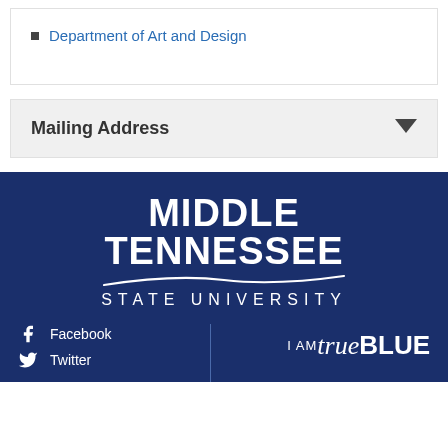Department of Art and Design
Mailing Address
[Figure (logo): Middle Tennessee State University logo in white on dark navy background with stylized swash line between 'TENNESSEE' and 'STATE UNIVERSITY']
Facebook
Twitter